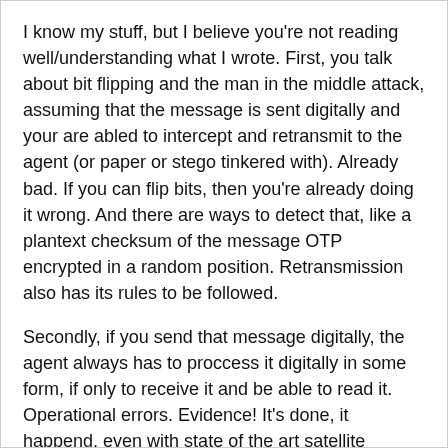I know my stuff, but I believe you're not reading well/understanding what I wrote. First, you talk about bit flipping and the man in the middle attack, assuming that the message is sent digitally and your are abled to intercept and retransmit to the agent (or paper or stego tinkered with). Already bad. If you can flip bits, then you're already doing it wrong. And there are ways to detect that, like a plantext checksum of the message OTP encrypted in a random position. Retransmission also has its rules to be followed.
Secondly, if you send that message digitally, the agent always has to proccess it digitally in some form, if only to receive it and be able to read it. Operational errors. Evidence! It's done, it happend, even with state of the art satellite receiver spy gear, and they get caught. The more tech in the equation, the more trouble.
Again, OTP IS perfectly secure, unless you reinvent math. The question is, how do you apply it in operational conditions.
“Rubbish, you can use a computer to do OTP in exactly the